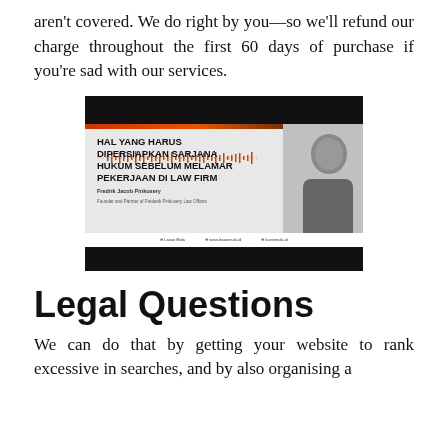aren't covered. We do right by you—so we'll refund our charge throughout the first 60 days of purchase if you're sad with our services.
[Figure (photo): Promotional image for a legal podcast/webinar titled 'HAL YANG HARUS DIPERSIAPKAN SARJANA HUKUM SEBELUM MELAMAR PEKERJAAN DI LAW FIRM' by Fredrik Jacob Pinkusery, Founder and Partner of Frederik Pinkusery Law Offices. Shows a man in a suit with arms crossed, with a logo, orange accent bar, waveform graphic, and social media handles at the bottom.]
Legal Questions
We can do that by getting your website to rank excessive in searches, and by also organising a